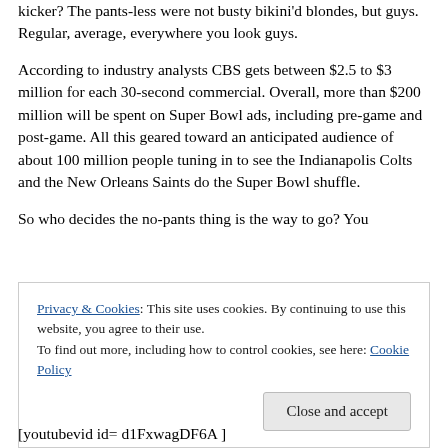kicker?  The pants-less were not busty bikini'd blondes, but guys.  Regular, average, everywhere you look guys.
According to industry analysts  CBS gets between $2.5 to $3 million for each 30-second commercial.  Overall, more than $200 million will be spent on Super Bowl ads, including pre-game and post-game.  All this geared toward an anticipated audience of about 100 million people tuning in to see the Indianapolis Colts and the New Orleans Saints do the Super Bowl shuffle.
So who decides the no-pants thing is the way to go?   You
Privacy & Cookies: This site uses cookies. By continuing to use this website, you agree to their use.
To find out more, including how to control cookies, see here: Cookie Policy
Close and accept
[youtubevid id= d1FxwagDF6A ]